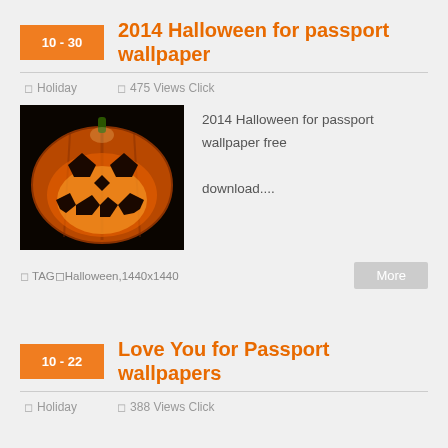2014 Halloween for passport wallpaper
Holiday   475 Views Click
[Figure (photo): Glowing jack-o-lantern pumpkin on dark background]
2014 Halloween for passport wallpaper free download....
TAG Halloween,1440x1440
More
Love You for Passport wallpapers
Holiday   388 Views Click